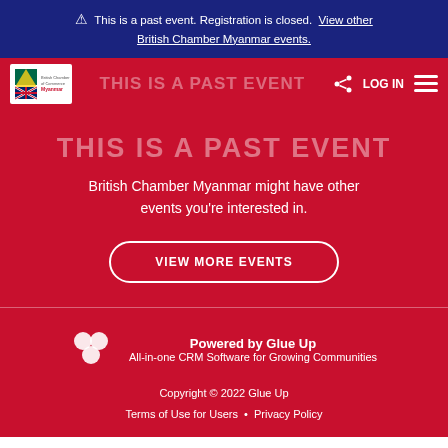⚠ This is a past event. Registration is closed.  View other British Chamber Myanmar events.
[Figure (screenshot): Navigation bar with British Chamber of Commerce Myanmar logo on left, faded 'THIS IS A PAST EVENT' text in center, share icon and LOG IN text and hamburger menu on right, all on red background]
British Chamber Myanmar might have other events you're interested in.
VIEW MORE EVENTS
[Figure (logo): Glue Up logo — three connected circles in white]
Powered by Glue Up
All-in-one CRM Software for Growing Communities
Copyright © 2022 Glue Up
Terms of Use for Users · Privacy Policy